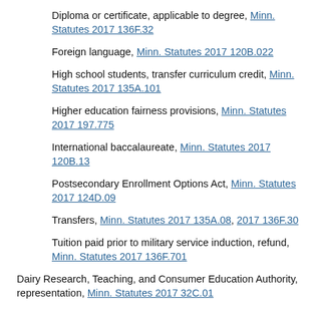Diploma or certificate, applicable to degree, Minn. Statutes 2017 136F.32
Foreign language, Minn. Statutes 2017 120B.022
High school students, transfer curriculum credit, Minn. Statutes 2017 135A.101
Higher education fairness provisions, Minn. Statutes 2017 197.775
International baccalaureate, Minn. Statutes 2017 120B.13
Postsecondary Enrollment Options Act, Minn. Statutes 2017 124D.09
Transfers, Minn. Statutes 2017 135A.08, 2017 136F.30
Tuition paid prior to military service induction, refund, Minn. Statutes 2017 136F.701
Dairy Research, Teaching, and Consumer Education Authority, representation, Minn. Statutes 2017 32C.01